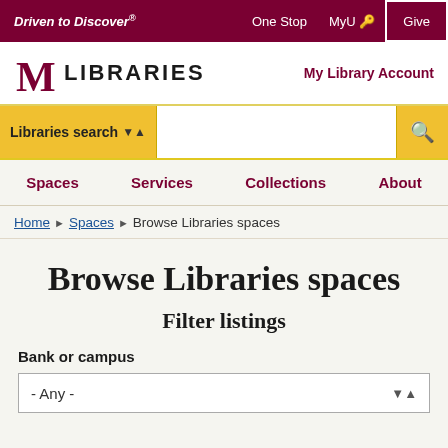Driven to Discover® | One Stop | MyU | Give
[Figure (logo): University of Minnesota M logo with LIBRARIES wordmark]
My Library Account
Libraries search [dropdown] [search button]
Spaces | Services | Collections | About
Home ▶ Spaces ▶ Browse Libraries spaces
Browse Libraries spaces
Filter listings
Bank or campus
- Any -